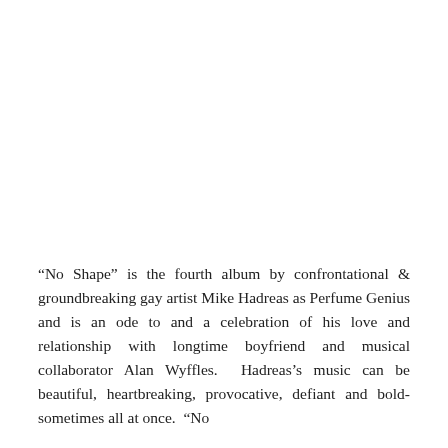“No Shape” is the fourth album by confrontational &amp; groundbreaking gay artist Mike Hadreas as Perfume Genius and is an ode to and a celebration of his love and relationship with longtime boyfriend and musical collaborator Alan Wyffles.  Hadreas’s music can be beautiful, heartbreaking, provocative, defiant and bold- sometimes all at once.  “No